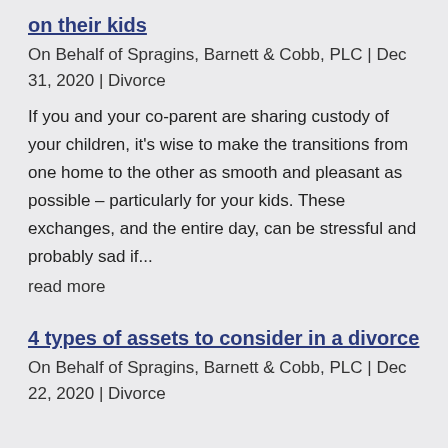on their kids
On Behalf of Spragins, Barnett & Cobb, PLC | Dec 31, 2020 | Divorce
If you and your co-parent are sharing custody of your children, it's wise to make the transitions from one home to the other as smooth and pleasant as possible – particularly for your kids. These exchanges, and the entire day, can be stressful and probably sad if...
read more
4 types of assets to consider in a divorce
On Behalf of Spragins, Barnett & Cobb, PLC | Dec 22, 2020 | Divorce